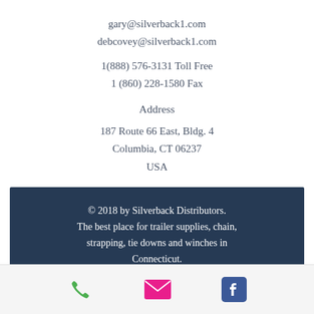gary@silverback1.com
debcovey@silverback1.com
1(888) 576-3131 Toll Free
1 (860) 228-1580 Fax
Address
187 Route 66 East, Bldg. 4
Columbia, CT 06237
USA
© 2018 by Silverback Distributors. The best place for trailer supplies, chain, strapping, tie downs and winches in Connecticut.
[Figure (infographic): Bottom icon bar with three icons: green phone icon, pink/magenta email envelope icon, and blue Facebook icon]